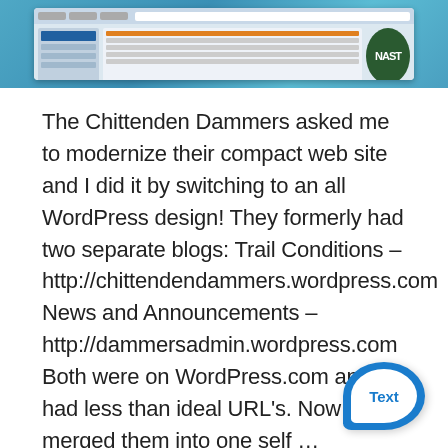[Figure (screenshot): Screenshot of a website (Chittenden Dammers) shown in a browser window against a teal/blue textured background. The browser shows a navigation bar, a blue sidebar, content area with text and imagery, and a circular green logo on the right.]
The Chittenden Dammers asked me to modernize their compact web site and I did it by switching to an all WordPress design! They formerly had two separate blogs: Trail Conditions – http://chittendendammers.wordpress.com News and Announcements – http://dammersadmin.wordpress.com Both were on WordPress.com and had less than ideal URL's. Now I have merged them into one self …
Continue reading